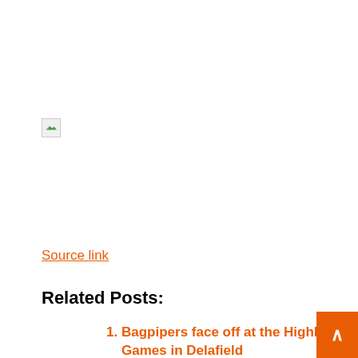[Figure (other): Broken/placeholder image icon]
Source link
Related Posts:
Bagpipers face off at the Highland Games in Delafield
Rotary has a bit of history at the local Highland Games
Former Grandfather Mountain Highland Games manager charged with attempted murder :: WRAL.com
Former Highland Games manager